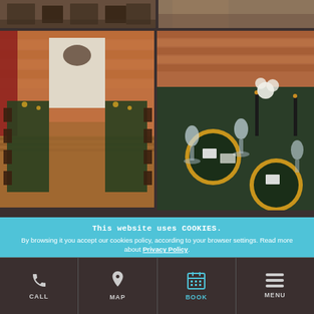[Figure (photo): Top-left partial photo showing chairs and tables in a venue, mostly cropped]
[Figure (photo): Top-right partial photo showing a table setting with warm tones, mostly cropped]
[Figure (photo): Bottom-left photo of a reception hall with long tables covered in dark green tablecloths, brick walls, wooden chairs, candles and floral centerpieces]
[Figure (photo): Bottom-right photo of close-up table setting with dark green tablecloth, gold charger plates, wine glasses, black candles, and floral arrangements against a brick wall]
This website uses COOKIES.
By browsing it you accept our cookies policy, according to your browser settings. Read more about Privacy Policy.
OK, close
CALL | MAP | BOOK | MENU